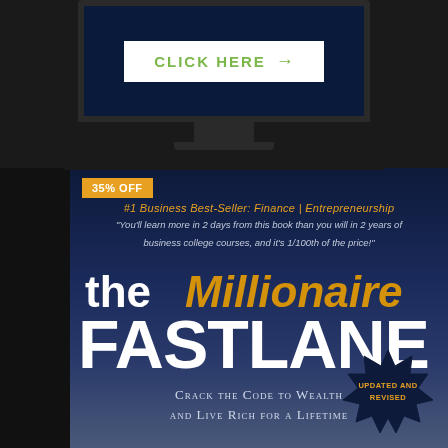[Figure (screenshot): Monitor screen showing a white 'CLICK HERE →' button on dark blue background]
[Figure (illustration): Book cover for 'The Millionaire Fastlane' with dark navy/blue background, showing title text, subtitle, 35% OFF badge, bestseller category, a quote, and an 'Updated and Revised' burst badge in the lower right corner.]